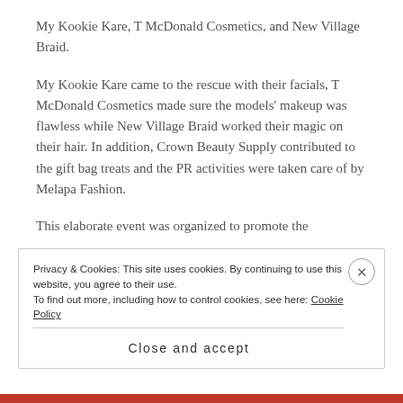My Kookie Kare, T McDonald Cosmetics, and New Village Braid.
My Kookie Kare came to the rescue with their facials, T McDonald Cosmetics made sure the models’ makeup was flawless while New Village Braid worked their magic on their hair. In addition, Crown Beauty Supply contributed to the gift bag treats and the PR activities were taken care of by Melapa Fashion.
This elaborate event was organized to promote the model services by the Straight Walk Runway Academy
Privacy & Cookies: This site uses cookies. By continuing to use this website, you agree to their use.
To find out more, including how to control cookies, see here: Cookie Policy
Close and accept